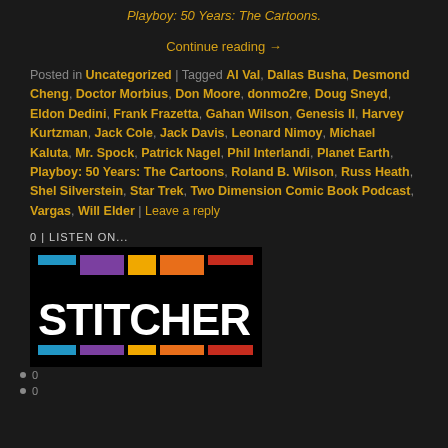Playboy: 50 Years: The Cartoons.
Continue reading →
Posted in Uncategorized | Tagged Al Val, Dallas Busha, Desmond Cheng, Doctor Morbius, Don Moore, donmo2re, Doug Sneyd, Eldon Dedidi, Frank Frazetta, Gahan Wilson, Genesis II, Harvey Kurtzman, Jack Cole, Jack Davis, Leonard Nimoy, Michael Kaluta, Mr. Spock, Patrick Nagel, Phil Interlandi, Planet Earth, Playboy: 50 Years: The Cartoons, Roland B. Wilson, Russ Heath, Shel Silverstein, Star Trek, Two Dimension Comic Book Podcast, Vargas, Will Elder | Leave a reply
0 | LISTEN ON...
[Figure (logo): Stitcher podcast app logo with colorful rectangle bars above and below the white STITCHER text on a black background]